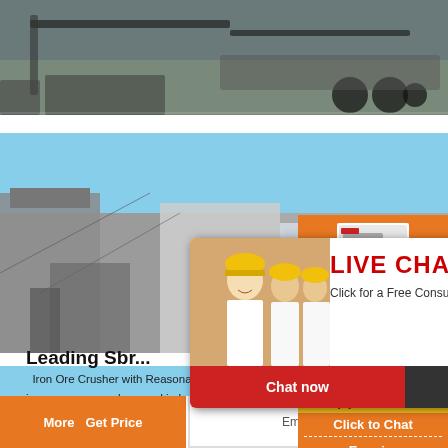[Figure (photo): Top strip photo of heavy machinery/crusher equipment on site, dark tones]
[Figure (photo): Large photo of industrial stone crushing plant with blue sky background]
[Figure (screenshot): Live chat popup overlay with workers in yellow hard hats. Shows LIVE CHAT heading in red, subtitle 'Click for a Free Consultation', Chat now (red) and Chat later (dark) buttons]
[Figure (photo): Right sidebar orange background with crusher machine product images]
Enjoy 3% discount
Click to Chat
Enquiry
Leading Sbr...
Iron Ore Crusher with Reasonable Price in Ind... iron ore cone crusher used in Indonesia, this cru... crushing efficiency in the process of iron or... equipped with advanced process automation,... operating, which can guarantee the operation safe...
More   Get Price
Email contact